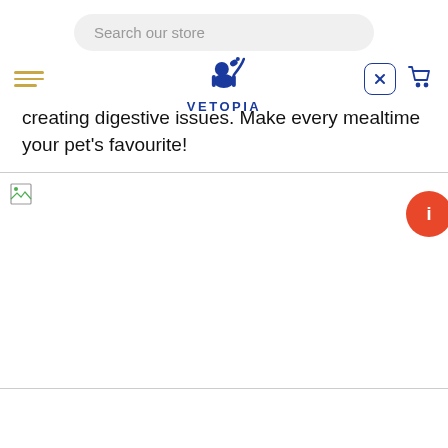Search our store
[Figure (logo): Vetopia brand logo with stylized dog silhouette and text VETOPIA in blue]
creating digestive issues. Make every mealtime your pet's favourite!
[Figure (photo): Broken/unloaded image placeholder with small image icon in top-left corner]